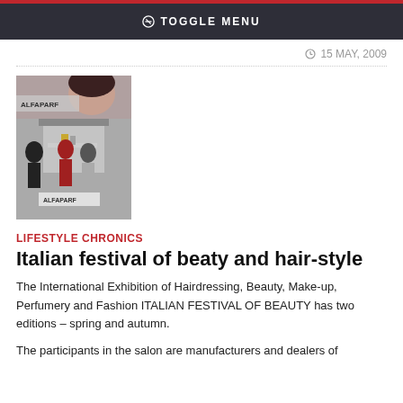TOGGLE MENU
15 MAY, 2009
[Figure (photo): A trade show exhibition booth for ALFAPARF hair/beauty products, with a large banner of a woman's face above, and visitors browsing products at the booth.]
LIFESTYLE CHRONICS
Italian festival of beaty and hair-style
The International Exhibition of Hairdressing, Beauty, Make-up, Perfumery and Fashion ITALIAN FESTIVAL OF BEAUTY has two editions – spring and autumn.
The participants in the salon are manufacturers and dealers of